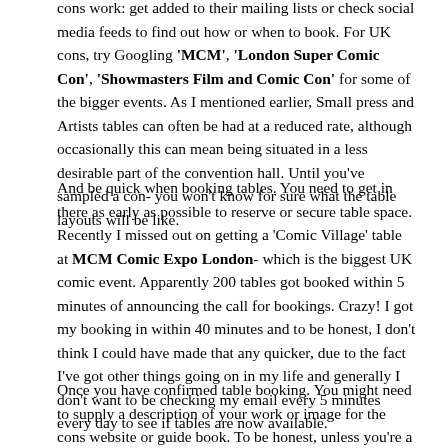cons work: get added to their mailing lists or check social media feeds to find out how or when to book. For UK cons, try Googling 'MCM', 'London Super Comic Con', 'Showmasters Film and Comic Con' for some of the bigger events. As I mentioned earlier, Small press and Artists tables can often be had at a reduced rate, although occasionally this can mean being situated in a less desirable part of the convention hall. Until you've sampled a con- you won't know for sure what the table layouts will be like.
And be quick when booking tables. You need to get in there as early as possible to reserve or secure table space. Recently I missed out on getting a 'Comic Village' table at MCM Comic Expo London- which is the biggest UK comic event. Apparently 200 tables got booked within 5 minutes of announcing the call for bookings. Crazy! I got my booking in within 40 minutes and to be honest, I don't think I could have made that any quicker, due to the fact I've got other things going on in my life and generally I don't want to be checking my email every 5 minutes every day to see if tables are now available.
Once you have confirmed table booking. You might need to supply a description of your work or image for the cons website or guide book. To be honest, unless you're a high-profile exhibitor, I imagine 99% of people won't care what your picture